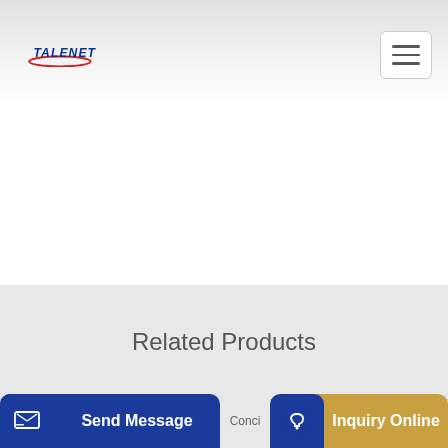[Figure (logo): Talenet company logo with red swoosh and blue text]
[Figure (other): Hamburger menu icon button in top right corner]
Related Products
concrete pump china api610 pump manufacturer
48m truck mounted concrete line pump 175m3 h sri lanka
[Figure (other): Send Message button with icon on bottom left]
Conci
[Figure (other): Inquiry Online button with headset icon on bottom right]